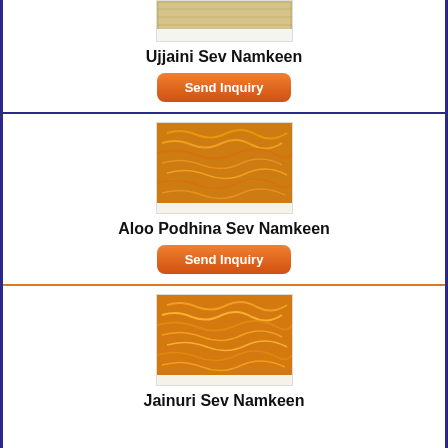[Figure (photo): Partial view of Ujjaini Sev Namkeen product image]
Ujjaini Sev Namkeen
Send Inquiry
[Figure (photo): Aloo Podhina Sev Namkeen product image showing golden fried noodle-like snack]
Aloo Podhina Sev Namkeen
Send Inquiry
[Figure (photo): Jainuri Sev Namkeen product image showing golden fried noodle-like snack]
Jainuri Sev Namkeen